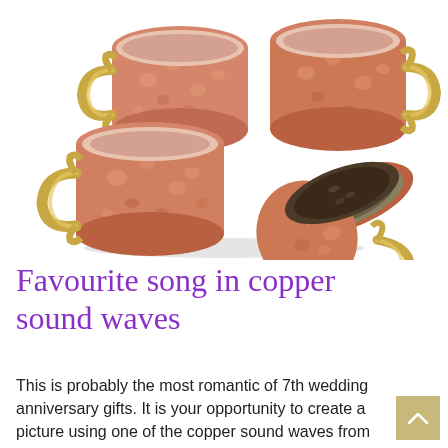[Figure (photo): Four hammered copper Moscow mule mugs with gold/brass handles arranged in a group on a white background. Two mugs are stacked on the left, one mug faces right upper area, and one mug is tipped on its side in the foreground right showing its interior.]
Favourite song in copper sound waves
This is probably the most romantic of 7th wedding anniversary gifts. It is your opportunity to create a picture using one of the copper sound waves from